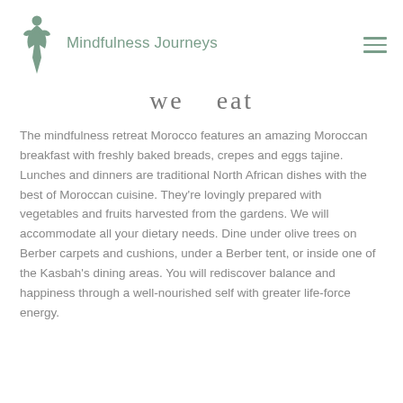Mindfulness Journeys
we eat
The mindfulness retreat Morocco features an amazing Moroccan breakfast with freshly baked breads, crepes and eggs tajine. Lunches and dinners are traditional North African dishes with the best of Moroccan cuisine. They're lovingly prepared with vegetables and fruits harvested from the gardens. We will accommodate all your dietary needs. Dine under olive trees on Berber carpets and cushions, under a Berber tent, or inside one of the Kasbah's dining areas. You will rediscover balance and happiness through a well-nourished self with greater life-force energy.